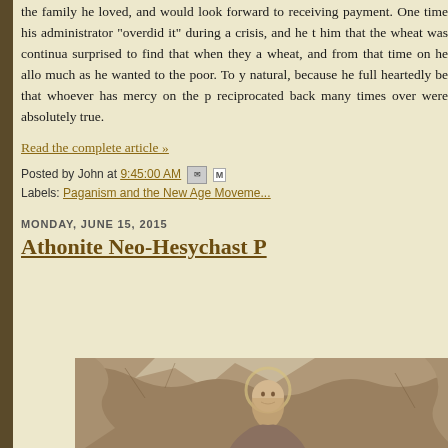the family he loved, and would look forward to receiving payment. One time his administrator "overdid it" during a crisis, and he told him that the wheat was continually given. He was surprised to find that when they audited the wheat, and from that time on he allowed giving as much as he wanted to the poor. To you this seems natural, because he full heartedly believed the fact that whoever has mercy on the poor has it reciprocated back many times over and his words were absolutely true.
Read the complete article »
Posted by John at 9:45:00 AM
Labels: Paganism and the New Age Movement
MONDAY, JUNE 15, 2015
Athonite Neo-Hesychast P...
[Figure (illustration): A sketch/drawing of a saint or religious figure with a halo, shown in a rocky or cave-like setting, rendered in brown/sepia tones]